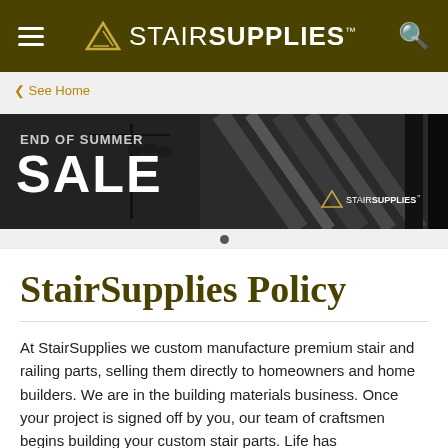STAIRSUPPLIES™
❮ See Home
[Figure (photo): Banner advertisement for StairSupplies End of Summer SALE, showing staircase and railing products in dark background with STAIRSUPPLIES logo]
StairSupplies Policy
At StairSupplies we custom manufacture premium stair and railing parts, selling them directly to homeowners and home builders. We are in the building materials business. Once your project is signed off by you, our team of craftsmen begins building your custom stair parts. Life has...